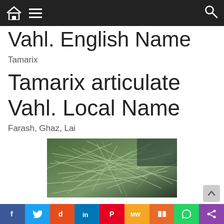Navigation bar with home, menu, and search icons
Vahl. English Name
Tamarix
Tamarix articulate Vahl. Local Name
Farash, Ghaz, Lai
[Figure (photo): Close-up photograph of Tamarix articulate Vahl plant branches with thin needle-like green foliage arranged in overlapping pattern]
Social share bar: Facebook, Twitter, Reddit, LinkedIn, Pinterest, MeWe, Mix, WhatsApp, Share